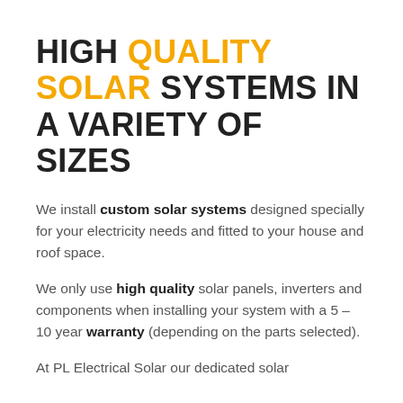HIGH QUALITY SOLAR SYSTEMS IN A VARIETY OF SIZES
We install custom solar systems designed specially for your electricity needs and fitted to your house and roof space.
We only use high quality solar panels, inverters and components when installing your system with a 5 – 10 year warranty (depending on the parts selected).
At PL Electrical Solar our dedicated solar